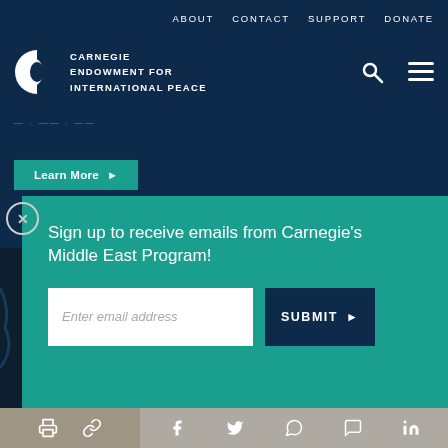ABOUT  CONTACT  SUPPORT  DONATE
[Figure (logo): Carnegie Endowment for International Peace logo with semicircle icon]
CARNEGIE ENDOWMENT FOR INTERNATIONAL PEACE
Learn More ▶
Sign up to receive emails from Carnegie's Middle East Program!
Enter email address
SUBMIT ▶
[Figure (screenshot): Social sharing bar with print, link, Facebook, Twitter, WhatsApp, Messenger, and LinkedIn icons]